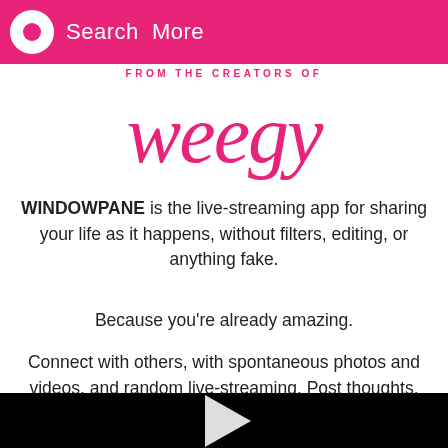Search  More
FROM THE CREATORS OF
[Figure (logo): weegy logo in pink script font]
WINDOWPANE is the live-streaming app for sharing your life as it happens, without filters, editing, or anything fake.
Because you're already amazing.
Connect with others, with spontaneous photos and videos, and random live-streaming. Post thoughts, events, experiences, and milestones, as you travel along the path that is uniquely
[Figure (screenshot): Black video player area with a white play button triangle in the center]